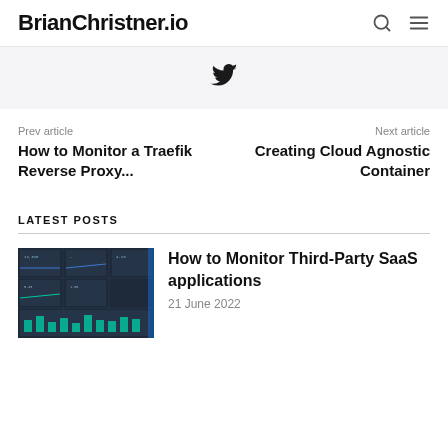BrianChristner.io
[Figure (illustration): Twitter bird icon in a light gray banner bar]
Prev article
How to Monitor a Traefik Reverse Proxy...
Next article
Creating Cloud Agnostic Container
LATEST POSTS
[Figure (screenshot): Thumbnail screenshot of a dark monitoring dashboard with multiple panels and charts]
How to Monitor Third-Party SaaS applications
21 June 2022